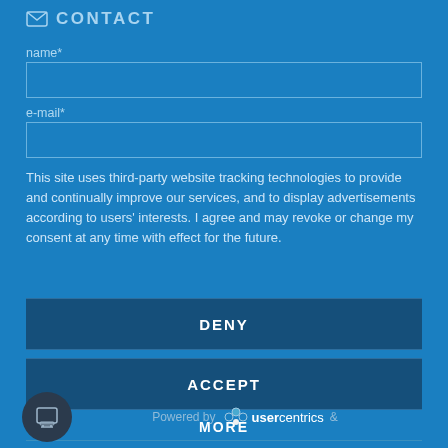CONTACT
name*
e-mail*
This site uses third-party website tracking technologies to provide and continually improve our services, and to display advertisements according to users' interests. I agree and may revoke or change my consent at any time with effect for the future.
DENY
ACCEPT
MORE
Powered by usercentrics &